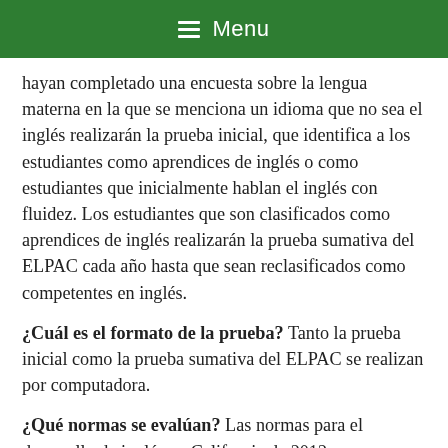Menu
hayan completado una encuesta sobre la lengua materna en la que se menciona un idioma que no sea el inglés realizarán la prueba inicial, que identifica a los estudiantes como aprendices de inglés o como estudiantes que inicialmente hablan el inglés con fluidez. Los estudiantes que son clasificados como aprendices de inglés realizarán la prueba sumativa del ELPAC cada año hasta que sean reclasificados como competentes en inglés.
¿Cuál es el formato de la prueba? Tanto la prueba inicial como la prueba sumativa del ELPAC se realizan por computadora.
¿Qué normas se evalúan? Las normas para el desarrollo de inglés en California de 2012.